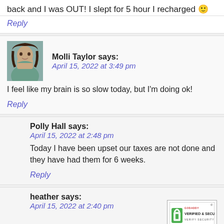back and I was OUT! I slept for 5 hour I recharged 🙂
Reply
Molli Taylor says:
April 15, 2022 at 3:49 pm
I feel like my brain is so slow today, but I'm doing ok!
Reply
Polly Hall says:
April 15, 2022 at 2:48 pm
Today I have been upset our taxes are not done and they have had them for 6 weeks.
Reply
heather says:
April 15, 2022 at 2:40 pm
[Figure (logo): GoDaddy Verified & Secured badge]